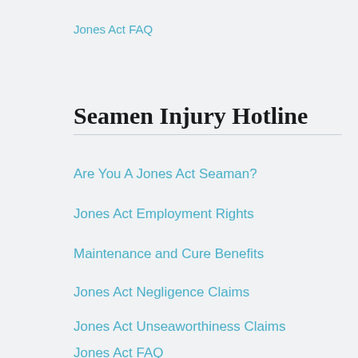Jones Act FAQ
Seamen Injury Hotline
Are You A Jones Act Seaman?
Jones Act Employment Rights
Maintenance and Cure Benefits
Jones Act Negligence Claims
Jones Act Unseaworthiness Claims
Jones Act FAQ